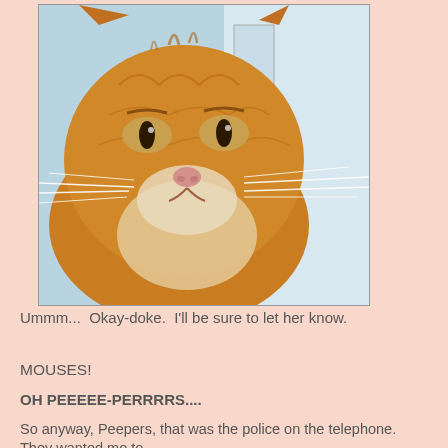[Figure (photo): Close-up photo of an orange tabby cat's face, looking stern or serious, with white whiskers, against a light background.]
Ummm...  Okay-doke.  I'll be sure to let her know.
MOUSES!
OH PEEEEE-PERRRRS....
So anyway, Peepers, that was the police on the telephone.  They wanted me to...
What?  Yeah, that's what I said.  Yeah, it was the police.  The police were on the telephone.